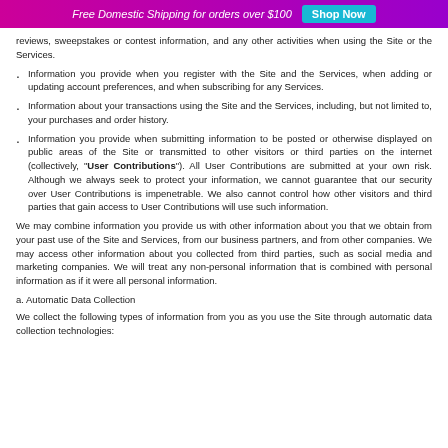Free Domestic Shipping for orders over $100  Shop Now
reviews, sweepstakes or contest information, and any other activities when using the Site or the Services.
Information you provide when you register with the Site and the Services, when adding or updating account preferences, and when subscribing for any Services.
Information about your transactions using the Site and the Services, including, but not limited to, your purchases and order history.
Information you provide when submitting information to be posted or otherwise displayed on public areas of the Site or transmitted to other visitors or third parties on the internet (collectively, "User Contributions"). All User Contributions are submitted at your own risk. Although we always seek to protect your information, we cannot guarantee that our security over User Contributions is impenetrable. We also cannot control how other visitors and third parties that gain access to User Contributions will use such information.
We may combine information you provide us with other information about you that we obtain from your past use of the Site and Services, from our business partners, and from other companies. We may access other information about you collected from third parties, such as social media and marketing companies. We will treat any non-personal information that is combined with personal information as if it were all personal information.
a. Automatic Data Collection
We collect the following types of information from you as you use the Site through automatic data collection technologies: